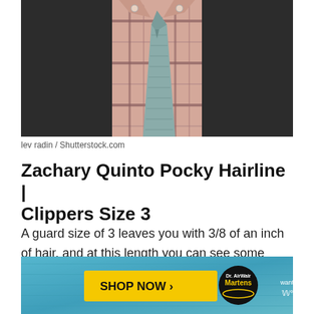[Figure (photo): Close-up photo of a man wearing a dark blazer, plaid dress shirt, and teal/grey knit tie]
lev radin / Shutterstock.com
Zachary Quinto Pocky Hairline | Clippers Size 3
A guard size of 3 leaves you with 3/8 of an inch of hair, and at this length you can see some serious body to the hair. Even going from a #2 to a #3 makes a huge di... want to gu...
[Figure (advertisement): Dr. Martens AirWair advertisement banner with 'SHOP NOW >' button in yellow on blue/teal background]